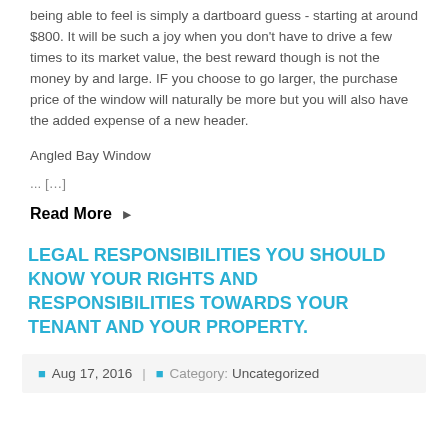being able to feel is simply a dartboard guess - starting at around $800. It will be such a joy when you don't have to drive a few times to its market value, the best reward though is not the money by and large. IF you choose to go larger, the purchase price of the window will naturally be more but you will also have the added expense of a new header.
Angled Bay Window
... […]
Read More
LEGAL RESPONSIBILITIES YOU SHOULD KNOW YOUR RIGHTS AND RESPONSIBILITIES TOWARDS YOUR TENANT AND YOUR PROPERTY.
Aug 17, 2016 | Category: Uncategorized